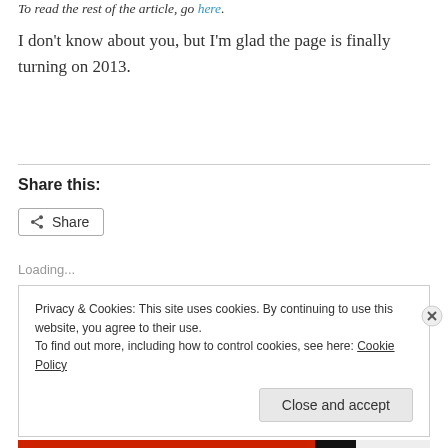To read the rest of the article, go here.
I don't know about you, but I'm glad the page is finally turning on 2013.
Share this:
Share
Loading...
Privacy & Cookies: This site uses cookies. By continuing to use this website, you agree to their use. To find out more, including how to control cookies, see here: Cookie Policy
Close and accept